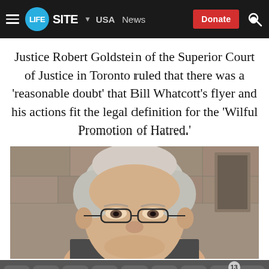LIFESITE · USA · News · Donate
Justice Robert Goldstein of the Superior Court of Justice in Toronto ruled that there was a 'reasonable doubt' that Bill Whatcott's flyer and his actions fit the legal definition for the 'Wilful Promotion of Hatred.'
[Figure (photo): Close-up photograph of an older man with white/grey hair and glasses, looking forward, in front of a stone building background]
Social sharing icons: Telegram, Gettr, MeWe, Facebook, Twitter, Email, Print, Comments (13), Donate ($)